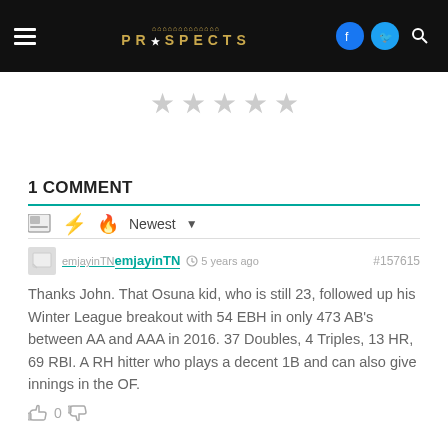PROSPECTS navigation bar with logo, hamburger menu, Facebook, Twitter, and search icons
[Figure (illustration): Five gray star rating icons in a row]
1 COMMENT
Sort bar with image icon, bolt icon, flame icon, and Newest dropdown
emjayinTN   5 years ago   #157615

Thanks John. That Osuna kid, who is still 23, followed up his Winter League breakout with 54 EBH in only 473 AB's between AA and AAA in 2016. 37 Doubles, 4 Triples, 13 HR, 69 RBI. A RH hitter who plays a decent 1B and can also give innings in the OF.
👍 0 👎